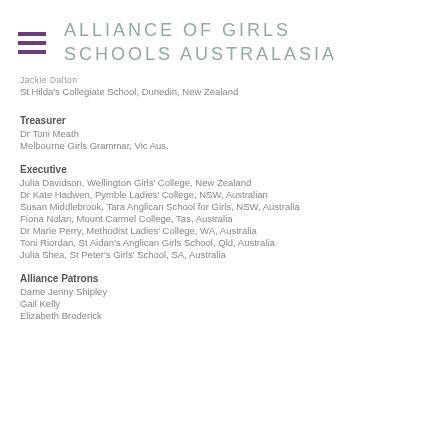[Figure (logo): Alliance of Girls Schools Australasia logo with hamburger menu icon]
Jackie Dalton
St Hilda's Collegiate School, Dunedin, New Zealand
Treasurer
Dr Toni Meath
Melbourne Girls Grammar, Vic Aus.
Executive
Julia Davidson, Wellington Girls' College, New Zealand
Dr Kate Hadwen, Pymble Ladies' College, NSW, Australian
Susan Middlebrook, Tara Anglican School for Girls, NSW, Australia
Fiona Nolan, Mount Carmel College, Tas, Australia
Dr Marie Perry, Methodist Ladies' College, WA, Australia
Toni Riordan, St Aidan's Anglican Girls School, Qld, Australia
Julia Shea, St Peter's Girls' School, SA, Australia
Alliance Patrons
Dame Jenny Shipley
Gail Kelly
Elizabeth Broderick